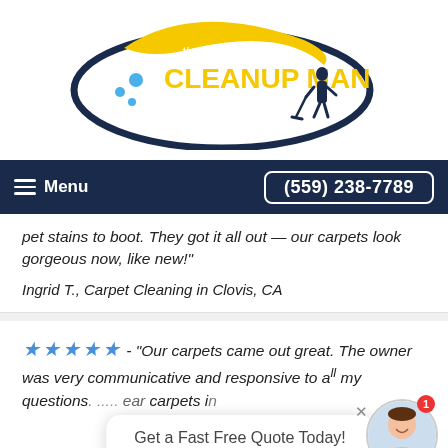[Figure (logo): The Cleanup Man Cleaning Services logo with yellow swoosh, blue text, and silhouette of person cleaning]
Menu   (559) 238-7789
pet stains to boot. They got it all out — our carpets look gorgeous now, like new!"
Ingrid T., Carpet Cleaning in Clovis, CA
★★★★★ - "Our carpets came out great. The owner was very communicative and responsive to all my questions. ... clean carpets in ...
Marissa G., Carpet Cleaning in Fresno, CA
Get a Fast Free Quote Today!